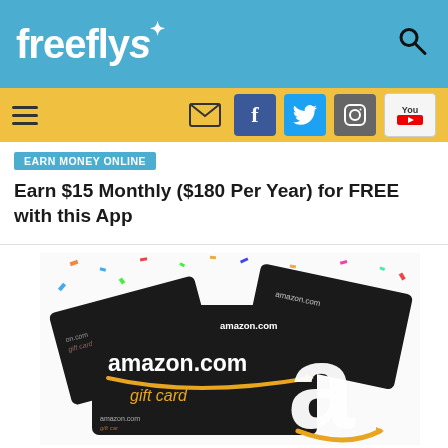freeflys
EARN MONEY ONLINE
Earn $15 Monthly ($180 Per Year) for FREE with this App
[Figure (photo): Amazon.com gift cards fanned out on a confetti background]
MAKE MONEY
10 Easy Ways To Earn Free Amazon Gift